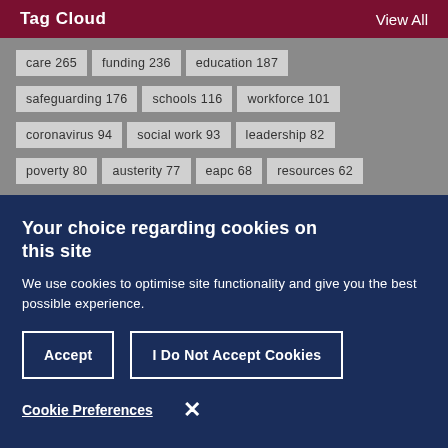Tag Cloud
View All
care 265
funding 236
education 187
safeguarding 176
schools 116
workforce 101
coronavirus 94
social work 93
leadership 82
poverty 80
austerity 77
eapc 68
resources 62
Your choice regarding cookies on this site
We use cookies to optimise site functionality and give you the best possible experience.
Accept
I Do Not Accept Cookies
Cookie Preferences